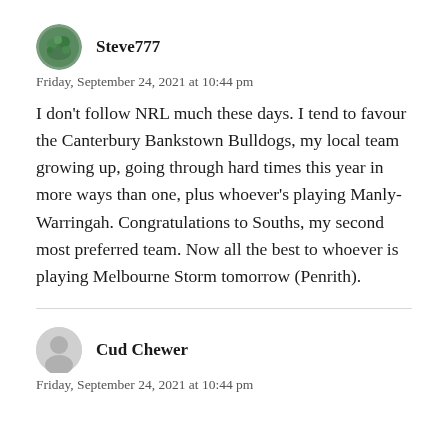Steve777
Friday, September 24, 2021 at 10:44 pm
I don’t follow NRL much these days. I tend to favour the Canterbury Bankstown Bulldogs, my local team growing up, going through hard times this year in more ways than one, plus whoever’s playing Manly-Warringah. Congratulations to Souths, my second most preferred team. Now all the best to whoever is playing Melbourne Storm tomorrow (Penrith).
Cud Chewer
Friday, September 24, 2021 at 10:44 pm